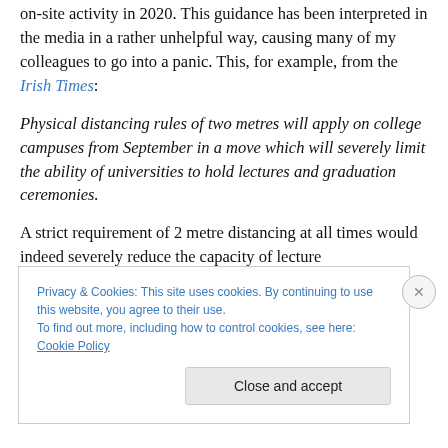on-site activity in 2020. This guidance has been interpreted in the media in a rather unhelpful way, causing many of my colleagues to go into a panic. This, for example, from the Irish Times:
Physical distancing rules of two metres will apply on college campuses from September in a move which will severely limit the ability of universities to hold lectures and graduation ceremonies.
A strict requirement of 2 metre distancing at all times would indeed severely reduce the capacity of lecture
Privacy & Cookies: This site uses cookies. By continuing to use this website, you agree to their use.
To find out more, including how to control cookies, see here: Cookie Policy
Close and accept